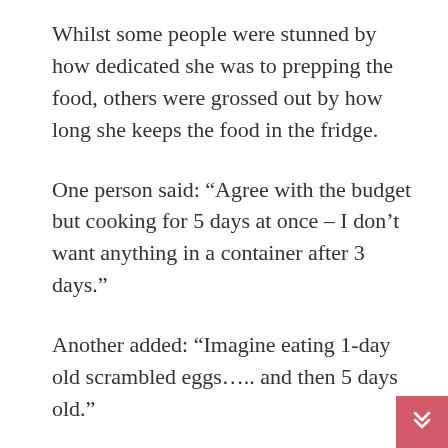Whilst some people were stunned by how dedicated she was to prepping the food, others were grossed out by how long she keeps the food in the fridge.
One person said: “Agree with the budget but cooking for 5 days at once – I don’t want anything in a container after 3 days.”
Another added: “Imagine eating 1-day old scrambled eggs….. and then 5 days old.”
“How do you eat eggs that have been there 8 days? I can’t even eat leftover eggs from the same day,” put a third, to which one person